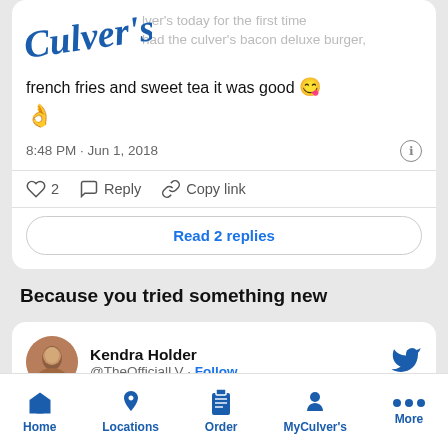[Figure (screenshot): Culver's restaurant logo in blue script font, partially visible at top left of tweet card]
... Culver's today for the first time and had the culver's bacon deluxe burger, french fries and sweet tea it was good 😋 👌
8:48 PM · Jun 1, 2018
♡ 2   Reply   Copy link
Read 2 replies
Because you tried something new
Kendra Holder @TheOfficialLV · Follow
Home   Locations   Order   MyCulver's   More